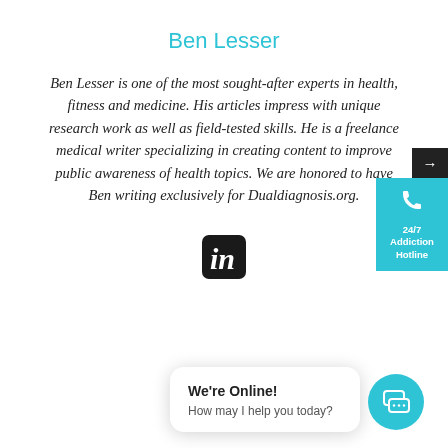Ben Lesser
Ben Lesser is one of the most sought-after experts in health, fitness and medicine. His articles impress with unique research work as well as field-tested skills. He is a freelance medical writer specializing in creating content to improve public awareness of health topics. We are honored to have Ben writing exclusively for Dualdiagnosis.org.
[Figure (logo): LinkedIn 'in' logo icon]
[Figure (infographic): 24/7 Addiction Hotline floating button widget with phone icon on cyan background]
[Figure (infographic): Chat widget bubble saying 'We're Online! How may I help you today?' with cyan circular chat icon]